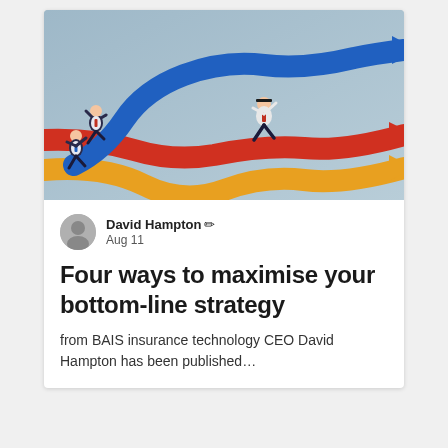[Figure (illustration): Illustration of three businessmen running on colorful curved arrows pointing right: blue arrow going up-right, red arrow going right, and gold/orange arrow curving down then right. The figures are in suit-like attire with one riding atop the arrows.]
David Hampton ✏ Aug 11
Four ways to maximise your bottom-line strategy
from BAIS insurance technology CEO David Hampton has been published…